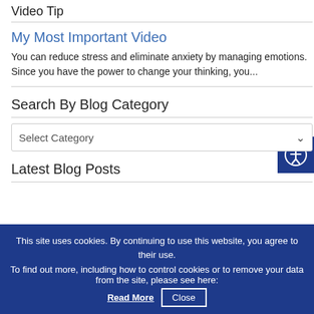Video Tip
My Most Important Video
You can reduce stress and eliminate anxiety by managing emotions. Since you have the power to change your thinking, you...
Search By Blog Category
Select Category
Latest Blog Posts
This site uses cookies. By continuing to use this website, you agree to their use.
To find out more, including how to control cookies or to remove your data from the site, please see here: Read More